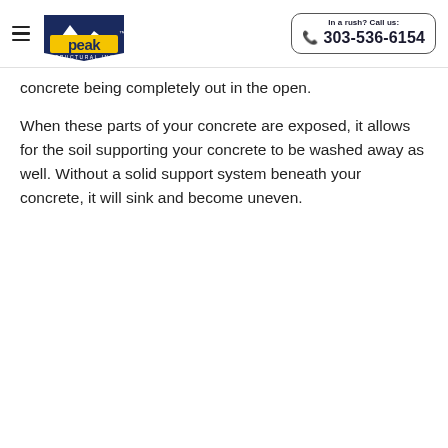Peak Structural Inc. | In a rush? Call us: 303-536-6154
concrete being completely out in the open.
When these parts of your concrete are exposed, it allows for the soil supporting your concrete to be washed away as well. Without a solid support system beneath your concrete, it will sink and become uneven.